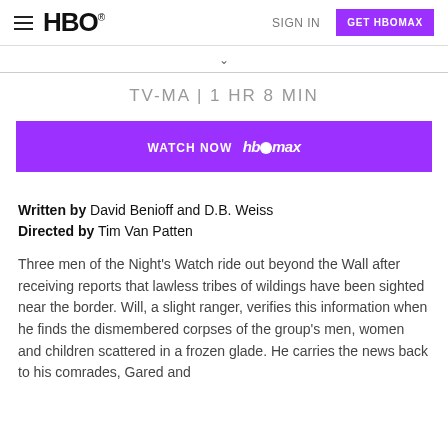HBO — SIGN IN — GET HBOMAX
TV-MA | 1 HR 8 MIN
[Figure (screenshot): Purple 'WATCH NOW HBO max' button]
Written by David Benioff and D.B. Weiss
Directed by Tim Van Patten
Three men of the Night's Watch ride out beyond the Wall after receiving reports that lawless tribes of wildings have been sighted near the border. Will, a slight ranger, verifies this information when he finds the dismembered corpses of the group's men, women and children scattered in a frozen glade. He carries the news back to his comrades, Gared and